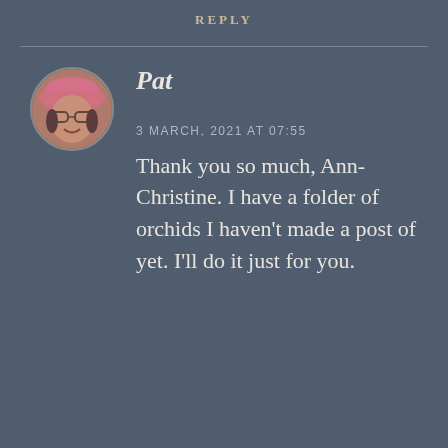REPLY
[Figure (photo): Circular avatar photo of a person wearing a pink cap and glasses, smiling, outdoors.]
Pat
3 MARCH, 2021 AT 07:55
Thank you so much, Ann-Christine. I have a folder of orchids I haven't made a post of yet. I'll do it just for you.